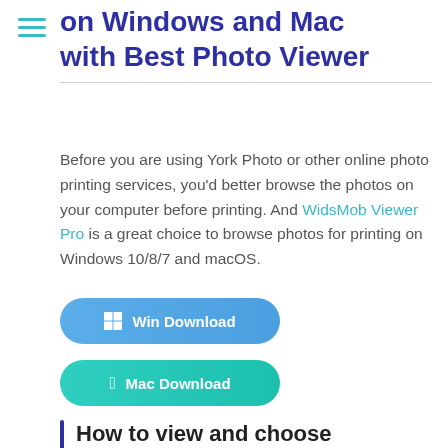on Windows and Mac with Best Photo Viewer
Before you are using York Photo or other online photo printing services, you'd better browse the photos on your computer before printing. And WidsMob Viewer Pro is a great choice to browse photos for printing on Windows 10/8/7 and macOS.
[Figure (other): Win Download button - blue rounded rectangle with Windows logo icon]
[Figure (other): Mac Download button - green rounded rectangle with Apple logo icon]
How to view and choose photos to print online